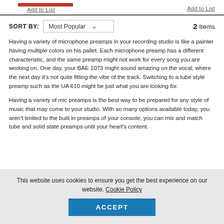Add to List (left)
Add to List (right)
SORT BY: Most Popular  2 Items
Having a variety of microphone preamps in your recording studio is like a painter having multiple colors on his pallet. Each microphone preamp has a different characteristic, and the same preamp might not work for every song you are working on. One day, your BAE 1073 might sound amazing on the vocal, where the next day it's not quite fitting the vibe of the track. Switching to a tube style preamp such as the UA 610 might be just what you are looking for.
Having a variety of mic preamps is the best way to be prepared for any style of music that may come to your studio. With so many options available today, you aren't limited to the built in preamps of your console, you can mix and match tube and solid state preamps until your heart's content.
This website uses cookies to ensure you get the best experience on our website. Cookie Policy
ACCEPT